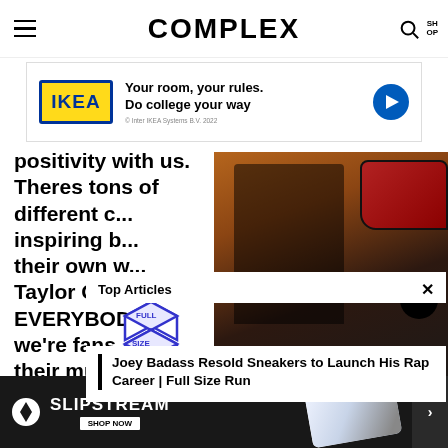COMPLEX
[Figure (screenshot): IKEA advertisement banner: IKEA logo in yellow/blue, text 'Your room, your rules. Do college your way', blue play button, copyright line '© Inter IKEA Systems B.V. 2022']
positivity with us. Theres tons of different c... inspiring b... their own w... Taylor Gan... EVERYBOD... we're fans... their music... promote th...
[Figure (screenshot): Top Articles overlay with Full Size Run logo and article link: 'Joey Badass Resold Sneakers to Launch His Rap Career | Full Size Run', with video thumbnail of a person in a sneaker store and red Air Jordan sneaker]
[Figure (screenshot): Puma Slipstream advertisement at bottom: Puma logo, SLIPSTREAM text, SHOP NOW button, sneaker image, close button and next arrow]